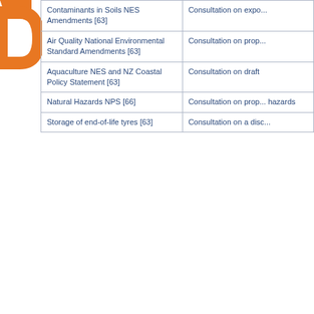| Contaminants in Soils NES Amendments [63] | Consultation on expo... |
| Air Quality National Environmental Standard Amendments [63] | Consultation on prop... |
| Aquaculture NES and NZ Coastal Policy Statement [63] | Consultation on draft |
| Natural Hazards NPS [66] | Consultation on prop... hazards |
| Storage of end-of-life tyres [63] | Consultation on a disc... |